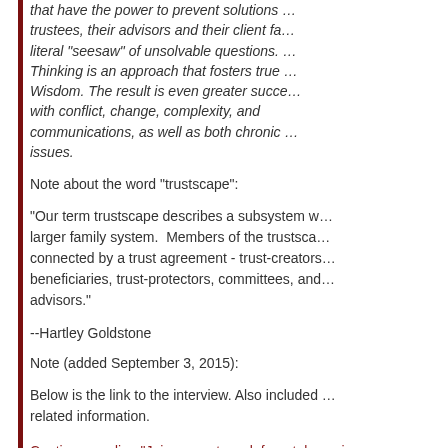that have the power to prevent solutions … trustees, their advisors and their client fa… literal "seesaw" of unsolvable questions. … Thinking is an approach that fosters true … Wisdom. The result is even greater succe… with conflict, change, complexity, and communications, as well as both chronic … issues.
Note about the word "trustscape":
"Our term trustscape describes a subsystem w… larger family system. Members of the trustsca… connected by a trust agreement - trust-creators… beneficiaries, trust-protectors, committees, and… advisors."
--Hartley Goldstone
Note (added September 3, 2015):
Below is the link to the interview. Also included … related information.
Continue reading "Join us next week for a telesemi… Thinking in trusts and estates" »